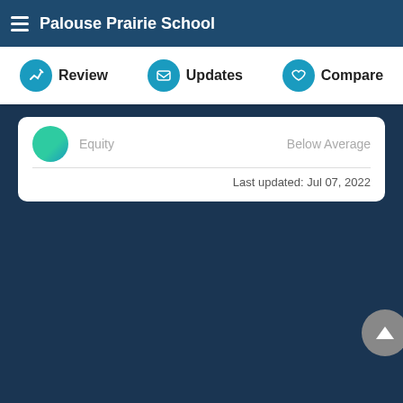Palouse Prairie School
Review | Updates | Compare
Equity  Below Average
Last updated: Jul 07, 2022